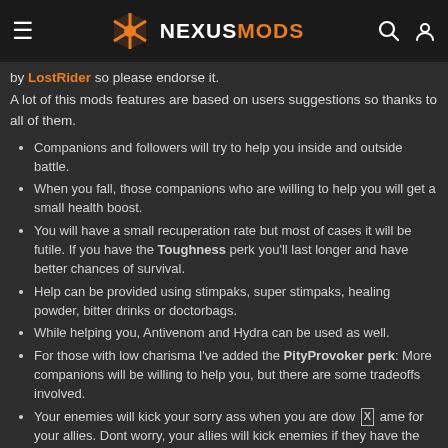NEXUSMODS
by LostRider so please endorse it.
A lot of this mods features are based on users suggestions so thanks to all of them.
Companions and followers will try to help you inside and outside battle.
When you fall, those companions who are willing to help you will get a small health boost.
You will have a small recuperation rate but most of cases it will be futile. If you have the Toughness perk you'll last longer and have better chances of survival.
Help can be provided using stimpaks, super stimpaks, healing powder, bitter drinks or doctorbags.
While helping you, Antivenom and Hydra can be used as well.
For those with low charisma I've added the PityProvoker perk: More companions will be willing to help you, but there are some tradeoffs involved.
Your enemies will kick your sorry ass when you are dow X ame for your allies. Dont worry, your allies will kick enemies if they have the chance as well.
You can activate health items bounded to number keys, so you'll